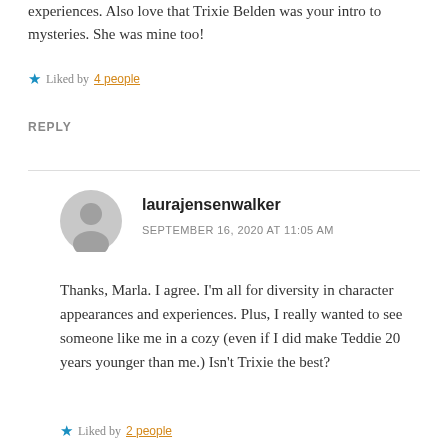experiences. Also love that Trixie Belden was your intro to mysteries. She was mine too!
Liked by 4 people
REPLY
laurajensenwalker
SEPTEMBER 16, 2020 AT 11:05 AM
Thanks, Marla. I agree. I'm all for diversity in character appearances and experiences. Plus, I really wanted to see someone like me in a cozy (even if I did make Teddie 20 years younger than me.) Isn't Trixie the best?
Liked by 2 people